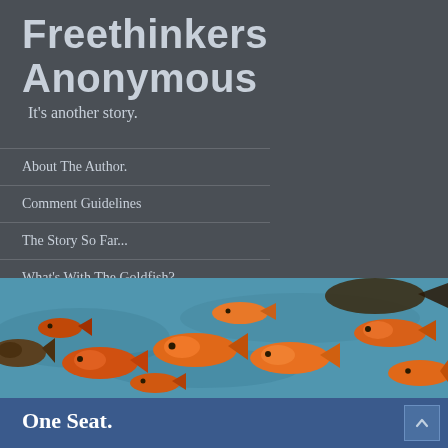Freethinkers Anonymous
It's another story.
About The Author.
Comment Guidelines
The Story So Far...
What's With The Goldfish?
[Figure (photo): A large group of orange goldfish swimming in blue-green water, viewed from above.]
One Seat.